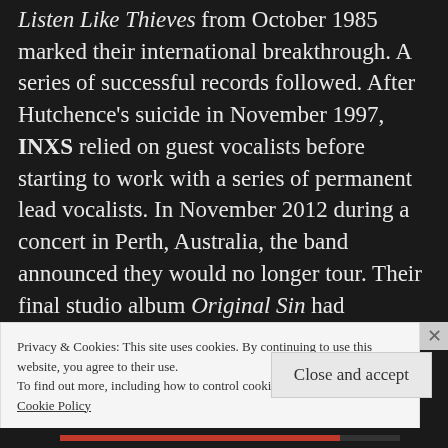Listen Like Thieves from October 1985 marked their international breakthrough. A series of successful records followed. After Hutchence's suicide in November 1997, INXS relied on guest vocalists before starting to work with a series of permanent lead vocalists. In November 2012 during a concert in Perth, Australia, the band announced they would no longer tour. Their final studio album Original Sin had appeared in November 2010. Here's Need You Tonight, one of INXS' biggest hits and their only no. 1 on the
Privacy & Cookies: This site uses cookies. By continuing to use this website, you agree to their use.
To find out more, including how to control cookies, see here:
Cookie Policy
Close and accept